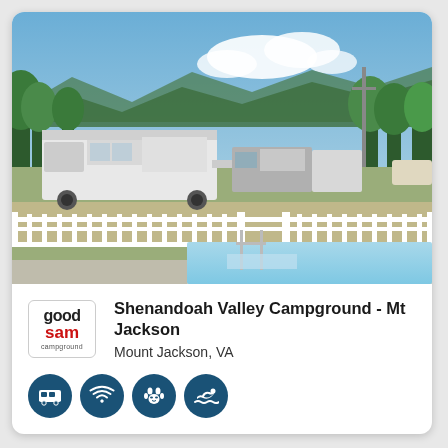[Figure (photo): Outdoor swimming pool with white fence at a campground. RVs and trailers visible in background. Blue sky with clouds, green trees, and mountains in distance.]
[Figure (logo): Good Sam Campground logo - red and black text in a rounded rectangle border]
Shenandoah Valley Campground - Mt Jackson
Mount Jackson, VA
[Figure (infographic): Four dark blue circle icons representing: RV/bus, WiFi, pets allowed, swimming]